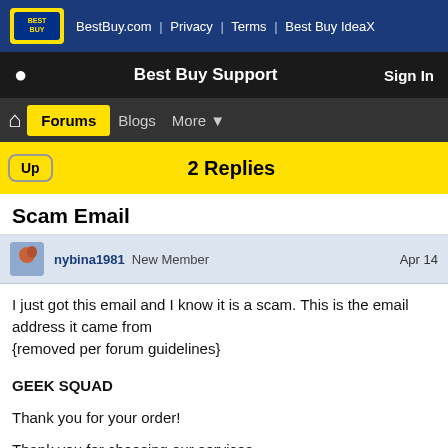BestBuy.com | Privacy | Terms | Best Buy IdeaX
Best Buy Support | Sign In
Forums | Blogs | More
2 Replies
Scam Email
nybina1981 New Member  Apr 14
I just got this email and I know it is a scam. This is the email address it came from
{removed per forum guidelines}


GEEK SQUAD

Thank you for your order!

Thank you for choosing our services.
We are reaching out to remind you that your computer protection
Annual subscription has expired and Auto-Renewed today.